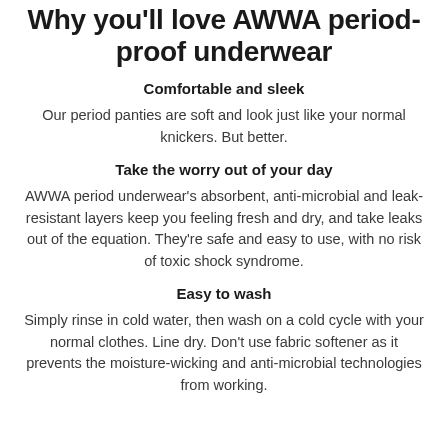Why you'll love AWWA period proof underwear
Comfortable and sleek
Our period panties are soft and look just like your normal knickers. But better.
Take the worry out of your day
AWWA period underwear's absorbent, anti-microbial and leak-resistant layers keep you feeling fresh and dry, and take leaks out of the equation. They're safe and easy to use, with no risk of toxic shock syndrome.
Easy to wash
Simply rinse in cold water, then wash on a cold cycle with your normal clothes. Line dry. Don't use fabric softener as it prevents the moisture-wicking and anti-microbial technologies from working.